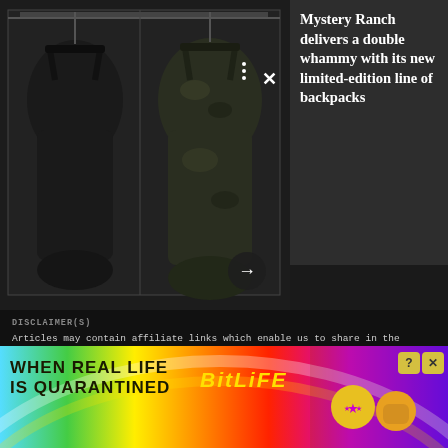[Figure (photo): Two military/tactical backpacks shown against a dark display background, one all-black and one in camouflage pattern]
Mystery Ranch delivers a double whammy with its new limited-edition line of backpacks
DISCLAIMER(S)
Articles may contain affiliate links which enable us to share in the revenue of any purchases made.
Registration on or use of this site constitutes acceptance of our Terms of Service.
© 2022 Recurrent. All rights reserved.
[Figure (screenshot): BitLife advertisement banner with rainbow gradient background. Text reads WHEN REAL LIFE IS QUARANTINED with BitLife logo and game character emoji]